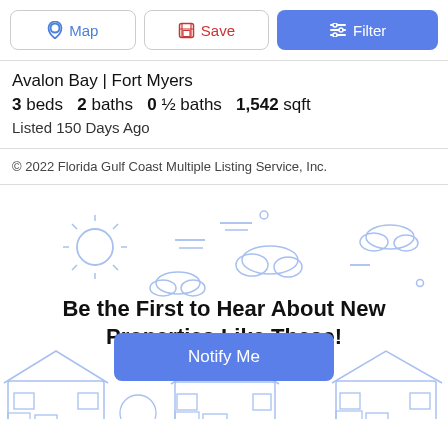Map | Save | Filter
Avalon Bay | Fort Myers
3 beds   2 baths   0 ½ baths   1,542 sqft
Listed 150 Days Ago
© 2022 Florida Gulf Coast Multiple Listing Service, Inc.
[Figure (illustration): Decorative illustration of houses, sun, and clouds with blue outline style]
Be the First to Hear About New Properties Like These!
Notify Me